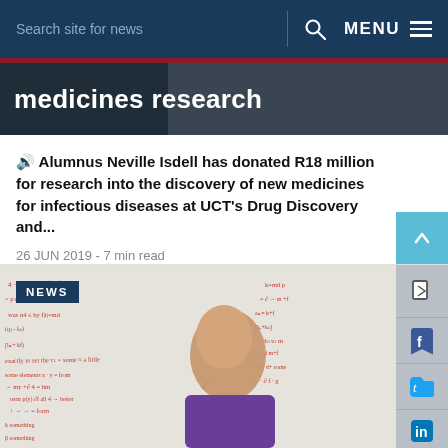Search site for news   MENU
medicines research
Alumnus Neville Isdell has donated R18 million for research into the discovery of new medicines for infectious diseases at UCT's Drug Discovery and...
26 JUN 2019 - 7 min read
[Figure (photo): Woman with auburn hair smiling, standing in front of a whiteboard covered in handwritten red and blue notes and equations. She is wearing a purple sweater. A 'NEWS' badge is overlaid in the top left.]